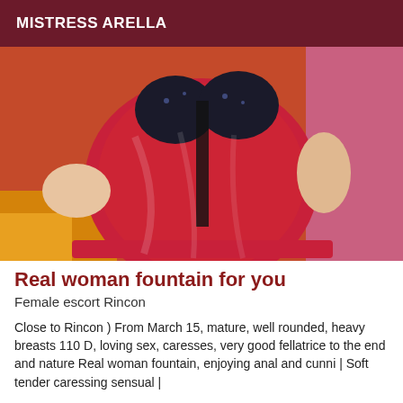MISTRESS ARELLA
[Figure (photo): Woman wearing a red sheer dress with black bejeweled bra top, posing on an orange/red background]
Real woman fountain for you
Female escort Rincon
Close to Rincon ) From March 15, mature, well rounded, heavy breasts 110 D, loving sex, caresses, very good fellatrice to the end and nature Real woman fountain, enjoying anal and cunni | Soft tender caressing sensual |